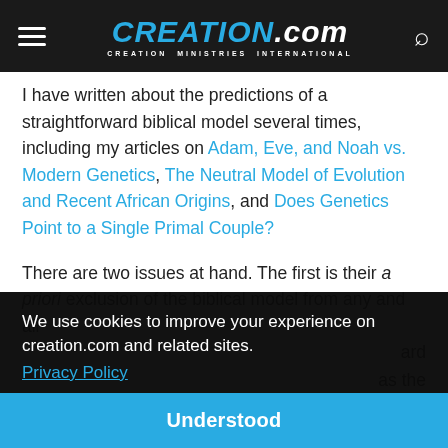CREATION.com — CREATION MINISTRIES INTERNATIONAL
I have written about the predictions of a straightforward biblical model several times, including my articles on Adam, Eve, and Noah vs. Modern Genetics, The Neutral Model of Evolution and Recent African Origins, and Does Genetics Point to a Single Primal Couple?
There are two issues at hand. The first is their a priori exclusion of the biblical model from any and all ...ard ...as the ...as not ...ve see ...ci.15
But that is a straw-man argument. Why would anyone
We use cookies to improve your experience on creation.com and related sites. Privacy Policy
Understood